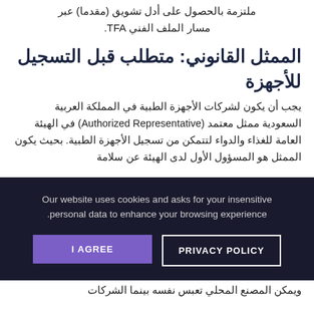ملتزمة بالحصول على أدل تشويق (مقدما) عبر مسار الملف الفني TFA.
الممثل القانوني: متطلب قبل التسجيل للأجهزة
يجب أن يكون لشركات الأجهزة الطبية في المملكة العربية السعودية ممثل معتمد (Authorized Representative) في الهيئة العامة للغذاء والدواء لتتمكن من تسجيل الأجهزة الطبية. بحيث يكون الممثل هو المسؤول الأول لدى الهيئة عن سلامة وفعة تسجيل الأخ
Our website uses cookies and asks for your insensitive personal data to enhance your browsing experience.
I AGREE
PRIVACY POLICY
المصنع المحلي تعبس نفسه بينما الشركات